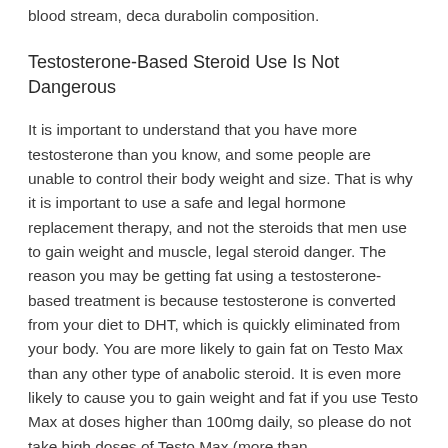blood stream, deca durabolin composition.
Testosterone-Based Steroid Use Is Not Dangerous
It is important to understand that you have more testosterone than you know, and some people are unable to control their body weight and size. That is why it is important to use a safe and legal hormone replacement therapy, and not the steroids that men use to gain weight and muscle, legal steroid danger. The reason you may be getting fat using a testosterone-based treatment is because testosterone is converted from your diet to DHT, which is quickly eliminated from your body. You are more likely to gain fat on Testo Max than any other type of anabolic steroid. It is even more likely to cause you to gain weight and fat if you use Testo Max at doses higher than 100mg daily, so please do not take high doses of Testo Max (more than